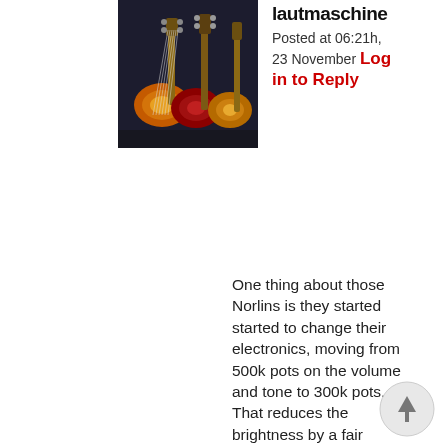lautmaschine
Posted at 06:21h, 23 November Log in to Reply
[Figure (photo): Photo of electric guitars displayed on a wall/stand, showing colorful sunburst finish guitars]
One thing about those Norlins is they started started to change their electronics, moving from 500k pots on the volume and tone to 300k pots. That reduces the brightness by a fair margin. I often wondered if that’s one of the reasons people don’t like them as much.
[Figure (other): Scroll-to-top circular button with upward arrow]